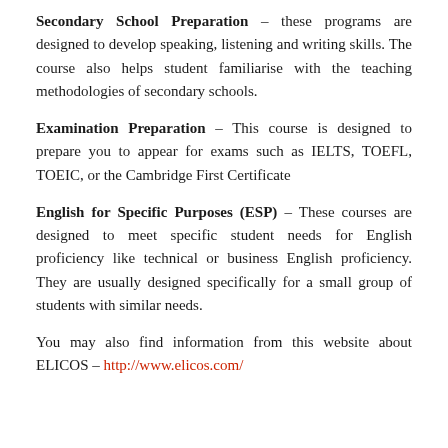Secondary School Preparation – these programs are designed to develop speaking, listening and writing skills. The course also helps student familiarise with the teaching methodologies of secondary schools.
Examination Preparation – This course is designed to prepare you to appear for exams such as IELTS, TOEFL, TOEIC, or the Cambridge First Certificate
English for Specific Purposes (ESP) – These courses are designed to meet specific student needs for English proficiency like technical or business English proficiency. They are usually designed specifically for a small group of students with similar needs.
You may also find information from this website about ELICOS – http://www.elicos.com/